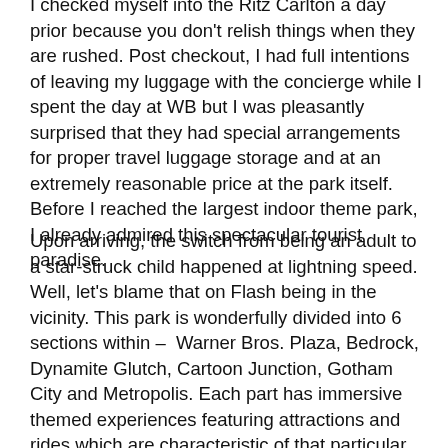I checked myself into the Ritz Carlton a day prior because you don't relish things when they are rushed. Post checkout, I had full intentions of leaving my luggage with the concierge while I spent the day at WB but I was pleasantly surprised that they had special arrangements for proper travel luggage storage and at an extremely reasonable price at the park itself. Before I reached the largest indoor theme park, I already admired this spectacular tourist paradise.
Upon arriving, the switch from being an adult to a star-struck child happened at lightning speed. Well, let's blame that on Flash being in the vicinity. This park is wonderfully divided into 6 sections within – Warner Bros. Plaza, Bedrock, Dynamite Glutch, Cartoon Junction, Gotham City and Metropolis. Each part has immersive themed experiences featuring attractions and rides which are characteristic of that particular world. Being a particular fan of the classic cartoons I enthusiastically entered Cartoon Junction where I encountered a myriad of my favourite characters such as Tom